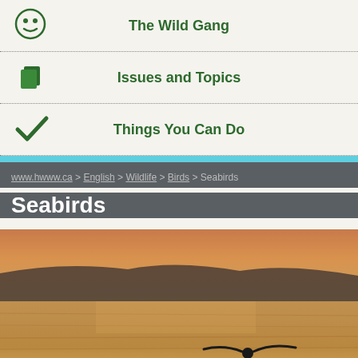The Wild Gang
Issues and Topics
Things You Can Do
www.hwww.ca > English > Wildlife > Birds > Seabirds
Seabirds
[Figure (photo): A seabird flying low over golden-lit water at sunset, with a dark silhouetted ridge in the background.]